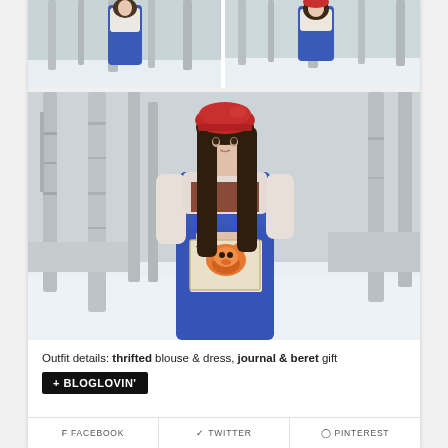[Figure (photo): Two photos side by side at top: young woman in blue dress and white lace blouse in snowy birch forest setting, upper body crops]
[Figure (photo): Full portrait photo of young woman with long dark hair wearing a red beret, white lace blouse, blue dress, holding a fox-print journal, standing in a snowy birch forest]
Outfit details: thrifted blouse & dress, journal & beret gift
+ BLOGLOVIN'
FACEBOOK
TWITTER
PINTEREST